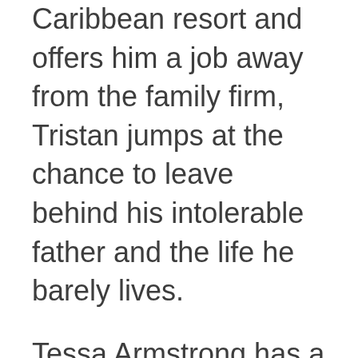Caribbean resort and offers him a job away from the family firm, Tristan jumps at the chance to leave behind his intolerable father and the life he barely lives.
Tessa Armstrong has a plan and moving to a tropical island isn't part of it. But when she lands the position of head pastry chef at a luxury hotel, she can't pass it up. A new country, a new kitchen. And a